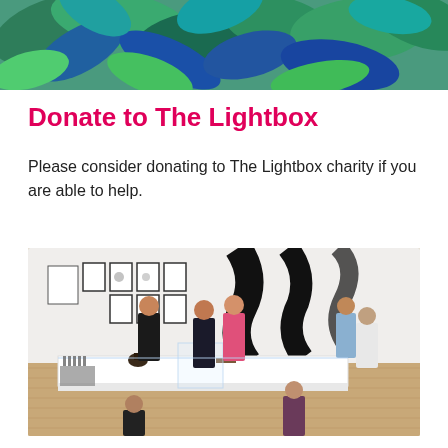[Figure (photo): Top portion of a colorful botanical/tropical artwork with blue, green and teal tones showing stylized leaves and foliage]
Donate to The Lightbox
Please consider donating to The Lightbox charity if you are able to help.
[Figure (photo): Interior gallery view of The Lightbox museum showing visitors looking at artworks and sculptures. Large black and white fabric sculptures hang from the ceiling. Framed artworks on white walls. Wooden floor. Display cases with small objects on a white plinth in the foreground.]